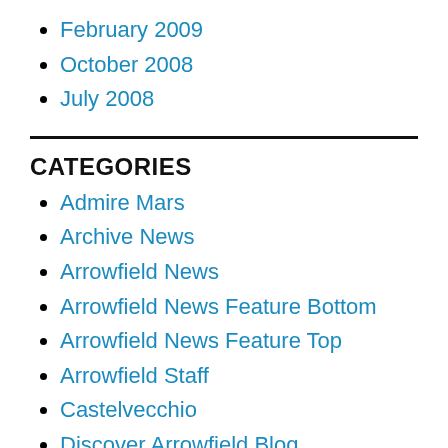February 2009
October 2008
July 2008
CATEGORIES
Admire Mars
Archive News
Arrowfield News
Arrowfield News Feature Bottom
Arrowfield News Feature Top
Arrowfield Staff
Castelvecchio
Discover Arrowfield Blog